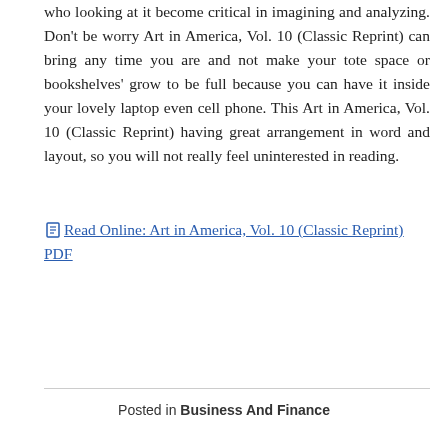who looking at it become critical in imagining and analyzing. Don't be worry Art in America, Vol. 10 (Classic Reprint) can bring any time you are and not make your tote space or bookshelves' grow to be full because you can have it inside your lovely laptop even cell phone. This Art in America, Vol. 10 (Classic Reprint) having great arrangement in word and layout, so you will not really feel uninterested in reading.
Read Online: Art in America, Vol. 10 (Classic Reprint) PDF
Posted in Business And Finance